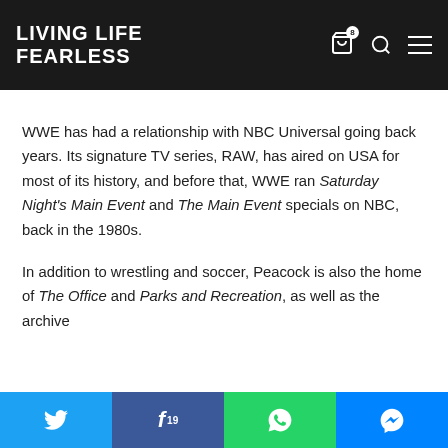LIVING LIFE FEARLESS
WWE has had a relationship with NBC Universal going back years. Its signature TV series, RAW, has aired on USA for most of its history, and before that, WWE ran Saturday Night's Main Event and The Main Event specials on NBC, back in the 1980s.
In addition to wrestling and soccer, Peacock is also the home of The Office and Parks and Recreation, as well as the archive